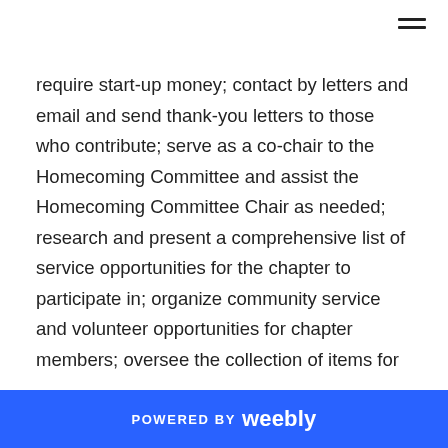require start-up money; contact by letters and email and send thank-you letters to those who contribute; serve as a co-chair to the Homecoming Committee and assist the Homecoming Committee Chair as needed; research and present a comprehensive list of service opportunities for the chapter to participate in; organize community service and volunteer opportunities for chapter members; oversee the collection of items for any National or Regional PRSSA Community Service Initiatives; organize event to celebrate Betsy Plank Day; recruit and lead a committee to fundraise for the annual Kent State University Relay For Life event (Flashathon); attend at least one PRSA Akron/Cleveland professional meeting each year; write at
POWERED BY weebly